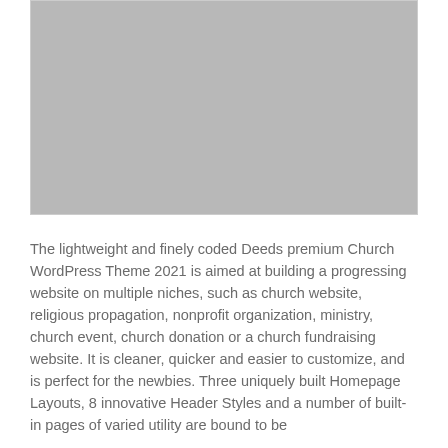[Figure (photo): A gray placeholder image rectangle with a light border]
The lightweight and finely coded Deeds premium Church WordPress Theme 2021 is aimed at building a progressing website on multiple niches, such as church website, religious propagation, nonprofit organization, ministry, church event, church donation or a church fundraising website. It is cleaner, quicker and easier to customize, and is perfect for the newbies. Three uniquely built Homepage Layouts, 8 innovative Header Styles and a number of built-in pages of varied utility are bound to be